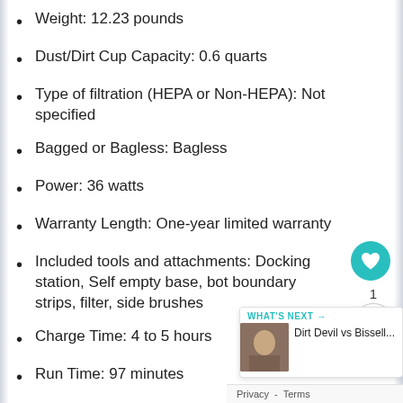Weight: 12.23 pounds
Dust/Dirt Cup Capacity: 0.6 quarts
Type of filtration (HEPA or Non-HEPA): Not specified
Bagged or Bagless: Bagless
Power: 36 watts
Warranty Length: One-year limited warranty
Included tools and attachments: Docking station, Self empty base, bot boundary strips, filter, side brushes
Charge Time: 4 to 5 hours
Run Time: 97 minutes